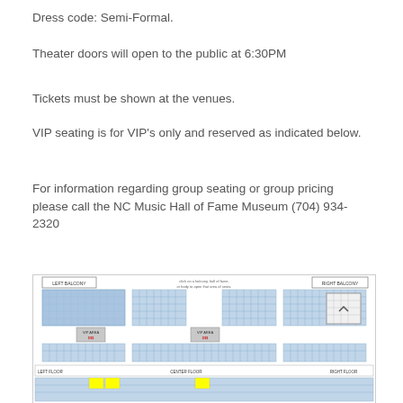Dress code: Semi-Formal.
Theater doors will open to the public at 6:30PM
Tickets must be shown at the venues.
VIP seating is for VIP's only and reserved as indicated below.
For information regarding group seating or group pricing please call the NC Music Hall of Fame Museum (704) 934-2320
[Figure (schematic): Theater seating chart showing left balcony, right balcony, center sections with VIP reserved areas, and floor seating labeled LEFT FLOOR, CENTER FLOOR, RIGHT FLOOR. Seats shown as a grid of blue squares with some gray/yellow highlighted VIP sections.]